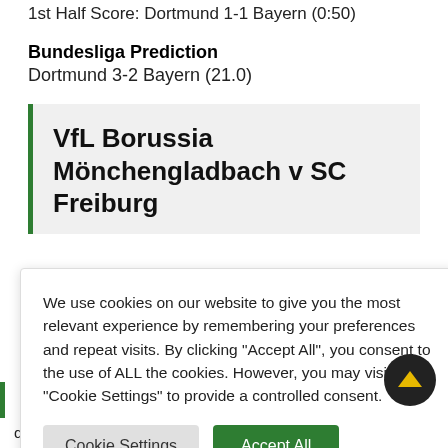1st Half Score: Dortmund 1-1 Bayern (0:50)
Bundesliga Prediction
Dortmund 3-2 Bayern (21.0)
VfL Borussia Mönchengladbach v SC Freiburg
We use cookies on our website to give you the most relevant experience by remembering your preferences and repeat visits. By clicking "Accept All", you consent to the use of ALL the cookies. However, you may visit "Cookie Settings" to provide a controlled consent.
defeats after managing to stay undefeated in the opening